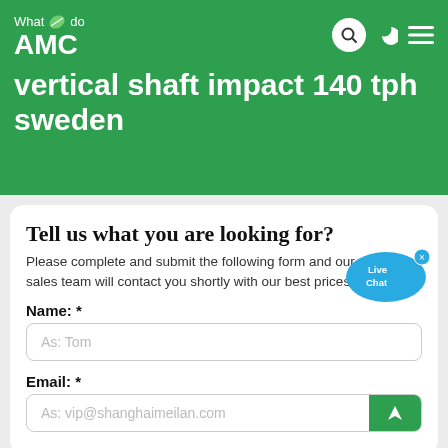What we do
AMC
vertical shaft impact 140 tph sweden
Tell us what you are looking for?
Please complete and submit the following form and our sales team will contact you shortly with our best prices.
Name: *
As: Tom
Email: *
As: vip@shanghaimeilan.com
Phone: *
With Country Code